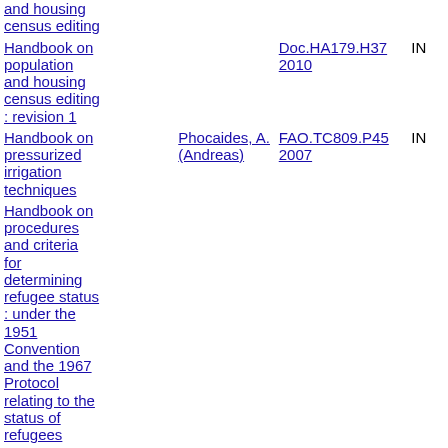| Title | Author | Call Number | Status |
| --- | --- | --- | --- |
| and housing census editing |  |  |  |
| Handbook on population and housing census editing : revision 1 |  | Doc.HA179.H37 2010 | IN |
| Handbook on pressurized irrigation techniques | Phocaides, A. (Andreas) | FAO.TC809.P45 2007 | IN |
| Handbook on procedures and criteria for determining refugee status : under the 1951 Convention and the 1967 Protocol relating to the status of refugees |  |  |  |